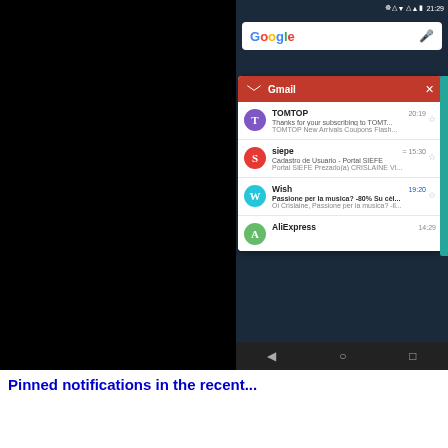[Figure (screenshot): Android smartphone screenshot showing Gmail notification card in the app switcher. The screen shows a Google search bar at the top, then a Gmail card with a red header and a list of email senders: TOMTOP (2019), siepe (15:30), Wish (19:20, bold), AliExpress (14:39). Each email shows a colored avatar, sender name, time, and preview text. Navigation bar at bottom with back, home, and recents icons. Left half of image is black.]
Pinned notifications in the recent...